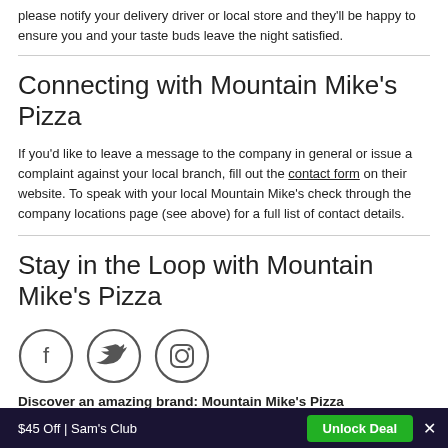please notify your delivery driver or local store and they'll be happy to ensure you and your taste buds leave the night satisfied.
Connecting with Mountain Mike's Pizza
If you'd like to leave a message to the company in general or issue a complaint against your local branch, fill out the contact form on their website. To speak with your local Mountain Mike's check through the company locations page (see above) for a full list of contact details.
Stay in the Loop with Mountain Mike's Pizza
[Figure (illustration): Three social media icons in circles: Facebook (f), Twitter (bird), Instagram (camera)]
Discover an amazing brand: Mountain Mike's Pizza
Try a slice from California's family-friendly pizzeria of choice, Mountain Mike's Pizza. With over 40 years' experience in
$45 Off | Sam's Club  Unlock Deal  ×